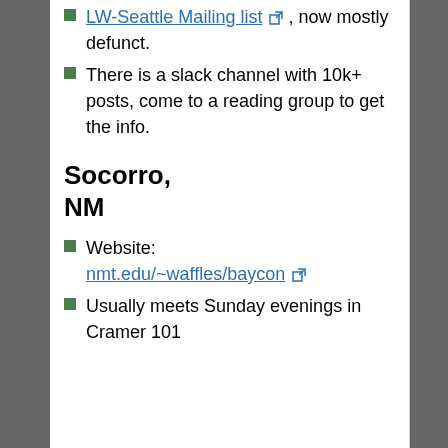LW-Seattle Mailing list [external link], now mostly defunct.
There is a slack channel with 10k+ posts, come to a reading group to get the info.
Socorro, NM
Website: nmt.edu/~waffles/baycon [external link]
Usually meets Sunday evenings in Cramer 101